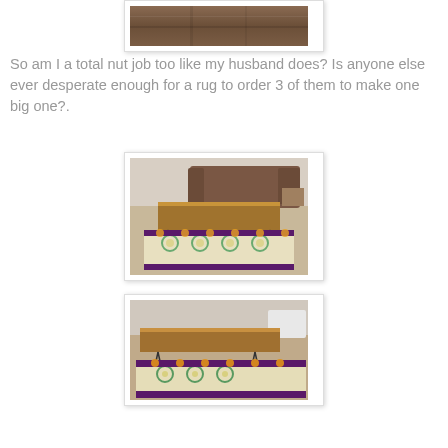[Figure (photo): Close-up photo of a brown leather or suede couch/sofa, cropped at top of page]
So am I a total nut job too like my husband does? Is anyone else ever desperate enough for a rug to order 3 of them to make one big one?.
[Figure (photo): Living room photo showing a wooden coffee table with hairpin legs on top of a patterned rug (colorful circular/floral pattern with dark purple border), brown leather sofa in background, beige carpet]
[Figure (photo): Close-up photo of the same wooden coffee table with hairpin legs on the patterned rug, showing the rug detail more closely, with white furniture visible in background]